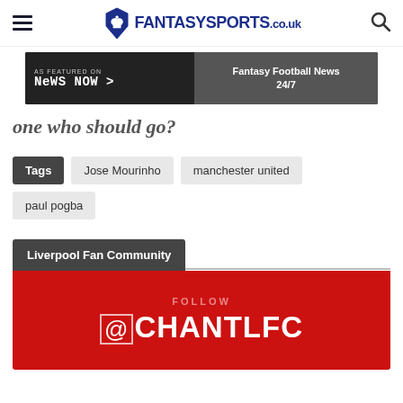FantasySports.co.uk
[Figure (screenshot): News Now banner ad - As featured on News Now, Fantasy Football News 24/7]
one who should go?
Tags: Jose Mourinho | manchester united | paul pogba
Liverpool Fan Community
[Figure (infographic): Red banner with text: FOLLOW @CHANTLFC]